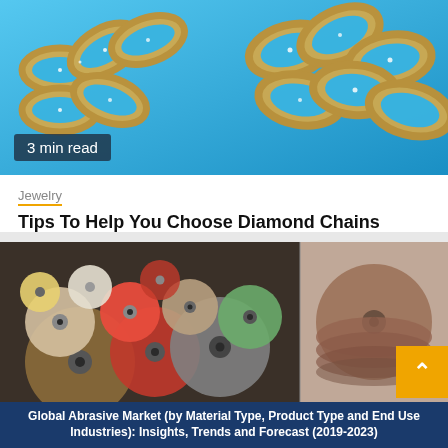[Figure (photo): Diamond chain jewelry on blue background, showing two gold chain necklaces encrusted with diamonds]
3 min read
Jewelry
Tips To Help You Choose Diamond Chains
9 months ago  Hong
[Figure (photo): Abrasive grinding discs and wheels of various sizes and colors piled together, plus a stack of sanding discs]
Global Abrasive Market (by Material Type, Product Type and End Use Industries): Insights, Trends and Forecast (2019-2023)